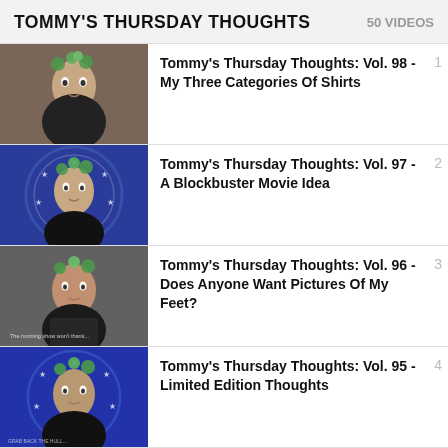TOMMY'S THURSDAY THOUGHTS
50 VIDEOS
Tommy's Thursday Thoughts: Vol. 98 - My Three Categories Of Shirts
Tommy's Thursday Thoughts: Vol. 97 - A Blockbuster Movie Idea
Tommy's Thursday Thoughts: Vol. 96 - Does Anyone Want Pictures Of My Feet?
Tommy's Thursday Thoughts: Vol. 95 - Limited Edition Thoughts
[Figure (screenshot): Advertisement banner for 'The Water Coolest' with JOIN NOW button]
Vol. 94 -